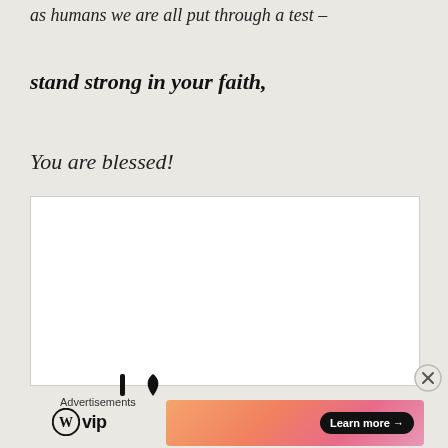as humans we are all put through a test –
stand strong in your faith,
You are blessed!
[Figure (other): White content box area, partially visible with some icon elements at the bottom]
Advertisements
[Figure (logo): WordPress VIP logo with circle W icon and 'vip' text]
[Figure (other): Advertisement banner with gradient orange/pink background and 'Learn more →' button]